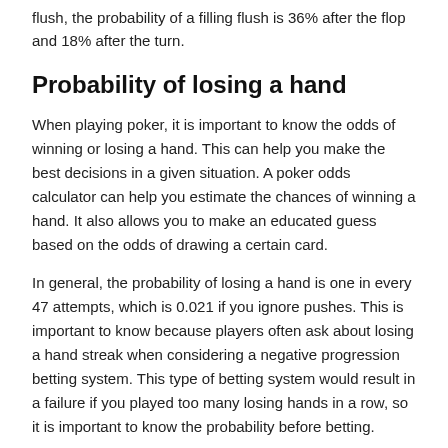flush, the probability of a filling flush is 36% after the flop and 18% after the turn.
Probability of losing a hand
When playing poker, it is important to know the odds of winning or losing a hand. This can help you make the best decisions in a given situation. A poker odds calculator can help you estimate the chances of winning a hand. It also allows you to make an educated guess based on the odds of drawing a certain card.
In general, the probability of losing a hand is one in every 47 attempts, which is 0.021 if you ignore pushes. This is important to know because players often ask about losing a hand streak when considering a negative progression betting system. This type of betting system would result in a failure if you played too many losing hands in a row, so it is important to know the probability before betting.